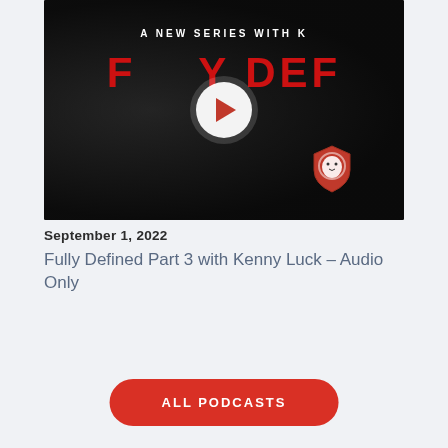[Figure (screenshot): Dark video thumbnail showing a person's face in shadow with text 'A NEW SERIES WITH K' at top and 'FULLY DEF' in large red letters. A white circular play button is centered. A red lion shield logo appears bottom right.]
September 1, 2022
Fully Defined Part 3 with Kenny Luck – Audio Only
ALL PODCASTS